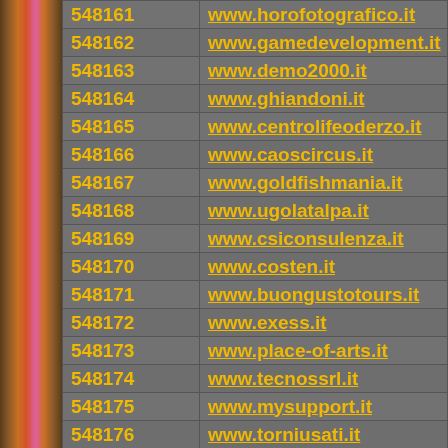| ID | URL |
| --- | --- |
| 548161 | www.horofotografico.it |
| 548162 | www.gamedevelopment.it |
| 548163 | www.demo2000.it |
| 548164 | www.ghiandoni.it |
| 548165 | www.centrolifeoderzo.it |
| 548166 | www.caoscircus.it |
| 548167 | www.goldfishmania.it |
| 548168 | www.ugolatalpa.it |
| 548169 | www.csiconsulenza.it |
| 548170 | www.costen.it |
| 548171 | www.buongustotours.it |
| 548172 | www.exess.it |
| 548173 | www.place-of-arts.it |
| 548174 | www.tecnossrl.it |
| 548175 | www.mysupport.it |
| 548176 | www.torniusati.it |